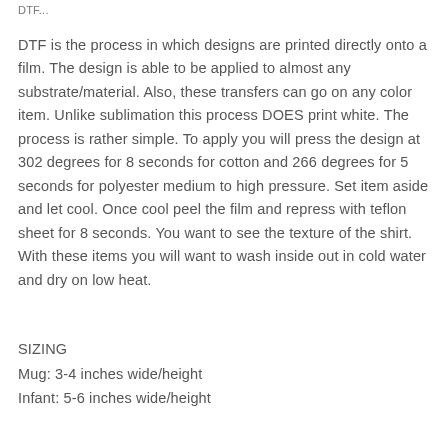DTF...
DTF is the process in which designs are printed directly onto a film. The design is able to be applied to almost any substrate/material. Also, these transfers can go on any color item. Unlike sublimation this process DOES print white. The process is rather simple. To apply you will press the design at 302 degrees for 8 seconds for cotton and 266 degrees for 5 seconds for polyester medium to high pressure. Set item aside and let cool. Once cool peel the film and repress with teflon sheet for 8 seconds. You want to see the texture of the shirt. With these items you will want to wash inside out in cold water and dry on low heat.
SIZING
Mug: 3-4 inches wide/height
Infant: 5-6 inches wide/height